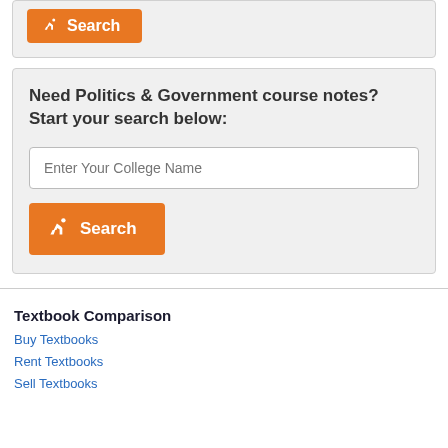[Figure (screenshot): Orange Search button with runner icon at top of page]
Need Politics & Government course notes? Start your search below:
[Figure (screenshot): Text input field with placeholder 'Enter Your College Name']
[Figure (screenshot): Orange Search button with runner icon]
Textbook Comparison
Buy Textbooks
Rent Textbooks
Sell Textbooks